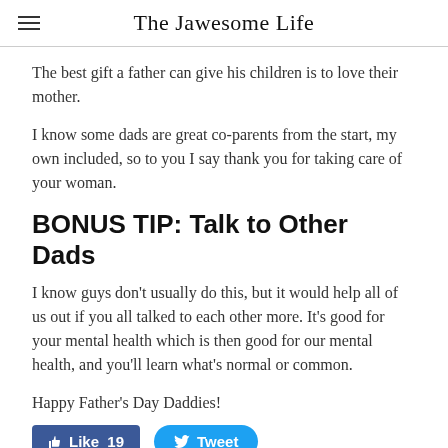The Jawesome Life
The best gift a father can give his children is to love their mother.
I know some dads are great co-parents from the start, my own included, so to you I say thank you for taking care of your woman.
BONUS TIP: Talk to Other Dads
I know guys don't usually do this, but it would help all of us out if you all talked to each other more. It's good for your mental health which is then good for our mental health, and you'll learn what's normal or common.
Happy Father's Day Daddies!
[Figure (screenshot): Facebook Like button showing 19 likes and a Twitter Tweet button]
0 Comments